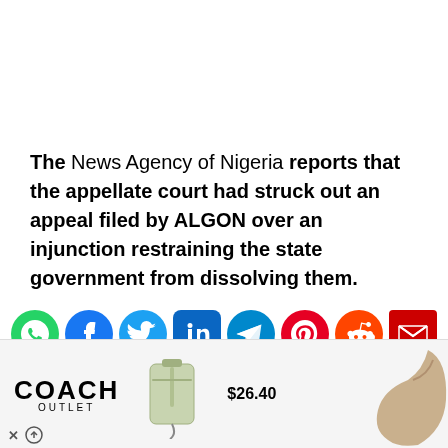The News Agency of Nigeria reports that the appellate court had struck out an appeal filed by ALGON over an injunction restraining the state government from dissolving them.
[Figure (infographic): Row of social media share icons: WhatsApp, Facebook, Twitter, LinkedIn, Telegram, Pinterest, Reddit, Email]
[Figure (infographic): Coach Outlet advertisement banner showing a green wristlet bag for $26.40 and a partial shoe image on the right]